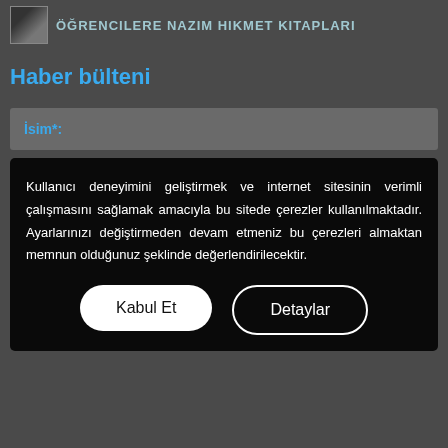ÖĞRENCILERE NAZIM HIKMET KITAPLARI
Haber bülteni
İsim*:
Kullanıcı deneyimini geliştirmek ve internet sitesinin verimli çalışmasını sağlamak amacıyla bu sitede çerezler kullanılmaktadır. Ayarlarınızı değiştirmeden devam etmeniz bu çerezleri almaktan memnun olduğunuz şeklinde değerlendirilecektir.
Kabul Et
Detaylar